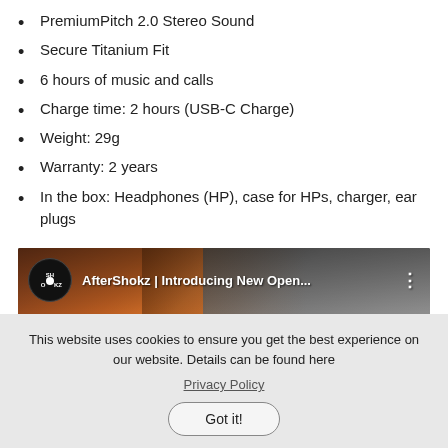PremiumPitch 2.0 Stereo Sound
Secure Titanium Fit
6 hours of music and calls
Charge time: 2 hours (USB-C Charge)
Weight: 29g
Warranty: 2 years
In the box: Headphones (HP), case for HPs, charger, ear plugs
[Figure (screenshot): YouTube video thumbnail showing AfterShokz | Introducing New Open... with SHOKZ logo, a person wearing bone conduction headphones, and a YouTube play button overlay]
This website uses cookies to ensure you get the best experience on our website. Details can be found here
Privacy Policy
Got it!